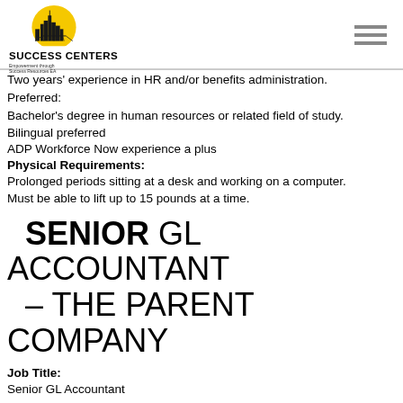SUCCESS CENTERS — Empowerment through Success Resources EA
Two years' experience in HR and/or benefits administration.
Preferred:
Bachelor's degree in human resources or related field of study.
Bilingual preferred
ADP Workforce Now experience a plus
Physical Requirements:
Prolonged periods sitting at a desk and working on a computer.
Must be able to lift up to 15 pounds at a time.
SENIOR GL ACCOUNTANT – THE PARENT COMPANY
Job Title:
Senior GL Accountant
Shift/Workday:
Full Time